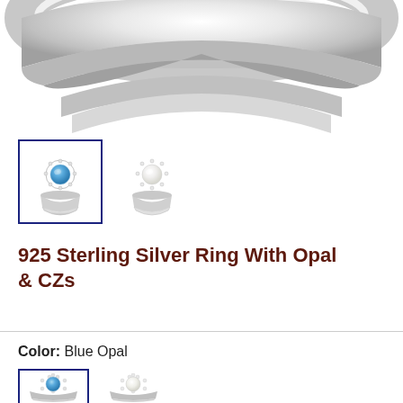[Figure (photo): Main product image showing a 925 sterling silver ring with opal and CZs — partial view of the band against white background]
[Figure (photo): Thumbnail 1 (selected, blue border): ring with blue opal center stone surrounded by CZ halo]
[Figure (photo): Thumbnail 2: ring with white opal center stone surrounded by CZ halo]
925 Sterling Silver Ring With Opal & CZs
Color:  Blue Opal
[Figure (photo): Color swatch 1 (selected, blue border): ring with blue opal]
[Figure (photo): Color swatch 2: ring with white opal]